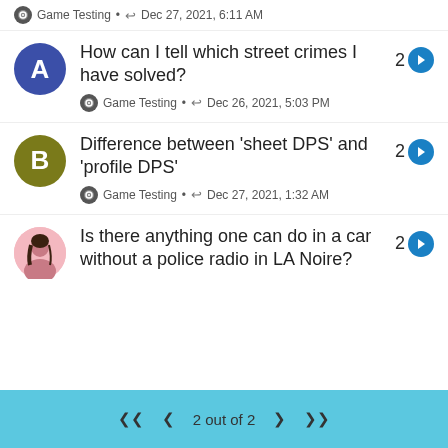Game Testing • ↩ Dec 27, 2021, 6:11 AM
How can I tell which street crimes I have solved?
Game Testing • ↩ Dec 26, 2021, 5:03 PM
Difference between 'sheet DPS' and 'profile DPS'
Game Testing • ↩ Dec 27, 2021, 1:32 AM
Is there anything one can do in a car without a police radio in LA Noire?
2 out of 2